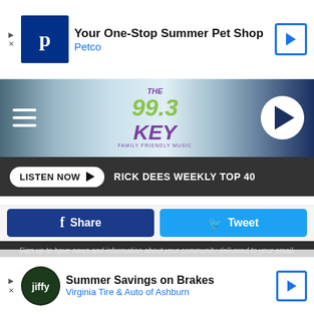[Figure (screenshot): Petco advertisement banner: 'Your One-Stop Summer Pet Shop / Petco' with Petco logo and navigation arrow icon]
[Figure (logo): The 99.3 Key radio station logo header with hamburger menu and play button]
LISTEN NOW  ▶  RICK DEES WEEKLY TOP 40
[Figure (screenshot): Facebook Share button (dark blue) and Twitter Tweet button (light blue)]
Sign up to have news and information about your community delivered to your email.
3:20 PM
WA National Guard 5 Liter Hydroplane Final
Email Address
3:53 PM
[Figure (screenshot): Facebook Like button with 'Like Us On Facebook' text]
Plus Seafair Stars & Stripes vs. Miss AGC Grand Prix Thunder Cup
—
[Figure (screenshot): Jiffy Lube/Virginia Tire & Auto advertisement: 'Summer Savings on Brakes / Virginia Tire & Auto of Ashburn']